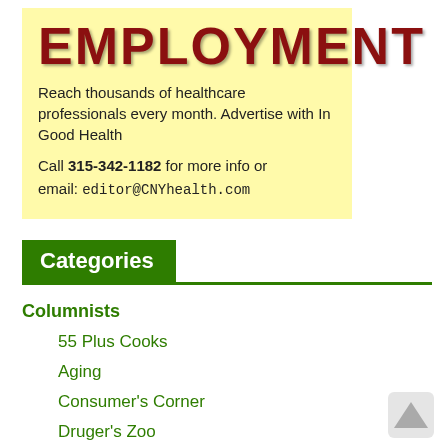[Figure (infographic): Yellow employment advertisement box with large dark red EMPLOYMENT title, text about reaching healthcare professionals, phone number 315-342-1182, and email editor@CNYhealth.com]
Categories
Columnists
55 Plus Cooks
Aging
Consumer's Corner
Druger's Zoo
Financial Health